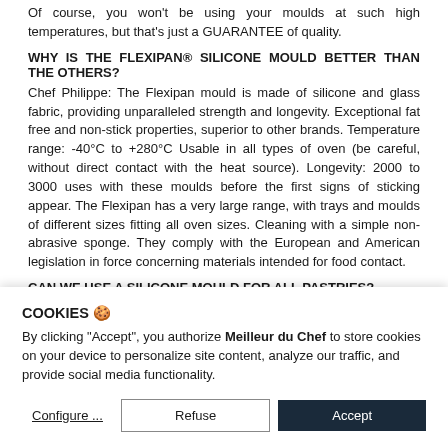Of course, you won't be using your moulds at such high temperatures, but that's just a GUARANTEE of quality.
WHY IS THE FLEXIPAN® SILICONE MOULD BETTER THAN THE OTHERS?
Chef Philippe: The Flexipan mould is made of silicone and glass fabric, providing unparalleled strength and longevity. Exceptional fat free and non-stick properties, superior to other brands. Temperature range: -40°C to +280°C Usable in all types of oven (be careful, without direct contact with the heat source). Longevity: 2000 to 3000 uses with these moulds before the first signs of sticking appear. The Flexipan has a very large range, with trays and moulds of different sizes fitting all oven sizes. Cleaning with a simple non-abrasive sponge. They comply with the European and American legislation in force concerning materials intended for food contact.
CAN WE USE A SILICONE MOULD FOR ALL PASTRIES?
Chef Philippe: Yes, prefer a silicone mould for individual preparations, for all individual dishes and small cakes. Also for any savoury dishes. For large cakes, prefer springforms with hinges to consolidate the mould and avoid any disappointment when filling or baking.
COOKIES 🍪
By clicking "Accept", you authorize Meilleur du Chef to store cookies on your device to personalize site content, analyze our traffic, and provide social media functionality.